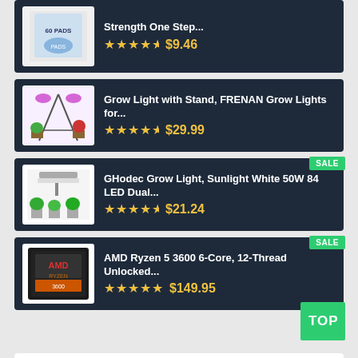Strength One Step... ★★★★½ $9.46
Grow Light with Stand, FRENAN Grow Lights for... ★★★★½ $29.99
GHodec Grow Light, Sunlight White 50W 84 LED Dual... ★★★★½ $21.24 SALE
AMD Ryzen 5 3600 6-Core, 12-Thread Unlocked... ★★★★★ $149.95 SALE TOP